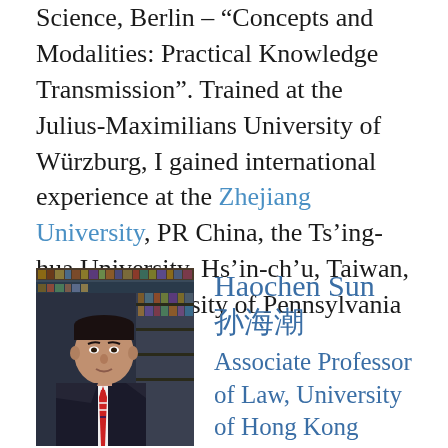Science, Berlin - "Concepts and Modalities: Practical Knowledge Transmission". Trained at the Julius-Maximilians University of Würzburg, I gained international experience at the Zhejiang University, PR China, the Ts'ing-hua University, Hs'in-ch'u, Taiwan, and the University of Pennsylvania
[Figure (photo): Headshot of Haochen Sun, a man in a dark suit with a striped tie, in front of bookshelves]
Haochen Sun 孙海潮
Associate Professor of Law, University of Hong Kong